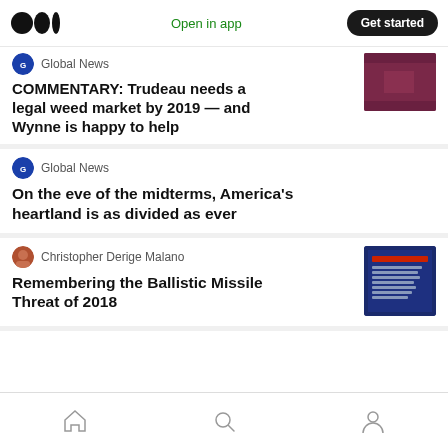Medium logo | Open in app | Get started
Global News
COMMENTARY: Trudeau needs a legal weed market by 2019 — and Wynne is happy to help
[Figure (photo): News article thumbnail image]
Global News
On the eve of the midterms, America's heartland is as divided as ever
Christopher Derige Malano
Remembering the Ballistic Missile Threat of 2018
[Figure (screenshot): Thumbnail image of a document/alert]
Home | Search | Profile navigation icons